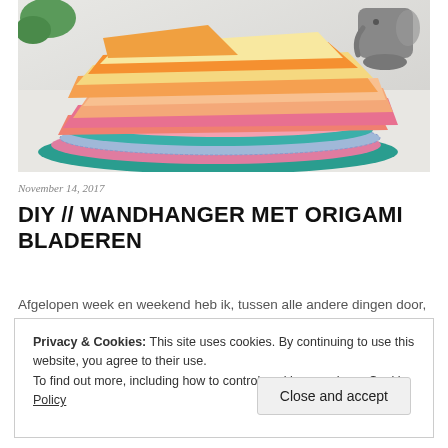[Figure (photo): A stack of colorful origami paper sheets in various colors including orange, yellow, pink, coral, teal, blue glitter, and hot pink, arranged in a pile on a white surface. A small grey elephant figurine and green plant are visible in the background.]
November 14, 2017
DIY // WANDHANGER MET ORIGAMI BLADEREN
Afgelopen week en weekend heb ik, tussen alle andere dingen door, heel
Privacy & Cookies: This site uses cookies. By continuing to use this website, you agree to their use.
To find out more, including how to control cookies, see here: Cookie Policy
Close and accept